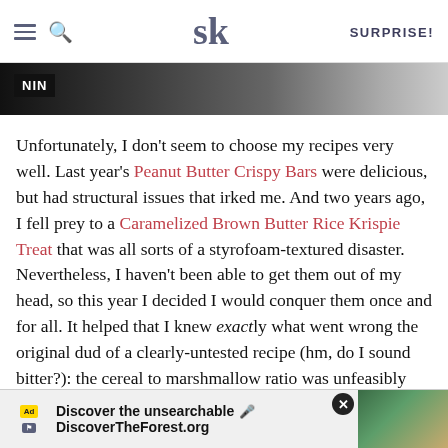SK — SURPRISE!
[Figure (photo): Partial hero image showing food (rice crispy treats) on dark background with NIN label overlay]
Unfortunately, I don't seem to choose my recipes very well. Last year's Peanut Butter Crispy Bars were delicious, but had structural issues that irked me. And two years ago, I fell prey to a Caramelized Brown Butter Rice Krispie Treat that was all sorts of a styrofoam-textured disaster. Nevertheless, I haven't been able to get them out of my head, so this year I decided I would conquer them once and for all. It helped that I knew exactly what went wrong the original dud of a clearly-untested recipe (hm, do I sound bitter?): the cereal to marshmallow ratio was unfeasibly high, more than double — marshmallow would
[Figure (screenshot): Advertisement bar: Discover the unsearchable — DiscoverTheForest.org with forest photo and close button]